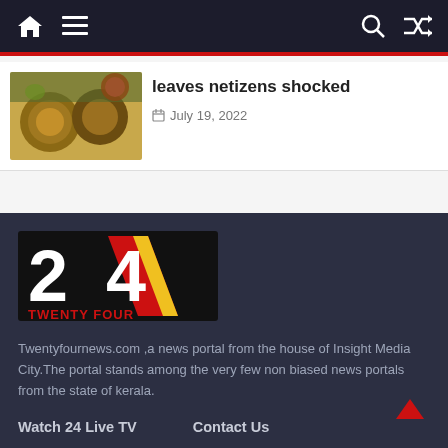Navigation bar with home icon, menu icon, search icon, shuffle icon
leaves netizens shocked
July 19, 2022
[Figure (logo): 24 Twenty Four news logo — black background with large '24' text in white/red/yellow, 'TWENTY FOUR' in red below]
Twentyfournews.com ,a news portal from the house of Insight Media City.The portal stands among the very few non biased news portals from the state of kerala.
Watch 24 Live TV   Contact Us